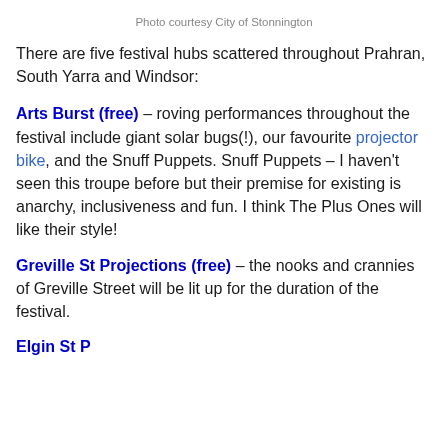Photo courtesy City of Stonnington
There are five festival hubs scattered throughout Prahran, South Yarra and Windsor:
Arts Burst (free) – roving performances throughout the festival include giant solar bugs(!), our favourite projector bike, and the Snuff Puppets. Snuff Puppets – I haven't seen this troupe before but their premise for existing is anarchy, inclusiveness and fun. I think The Plus Ones will like their style!
Greville St Projections (free) – the nooks and crannies of Greville Street will be lit up for the duration of the festival.
Elgin StPorary Man Electric Park